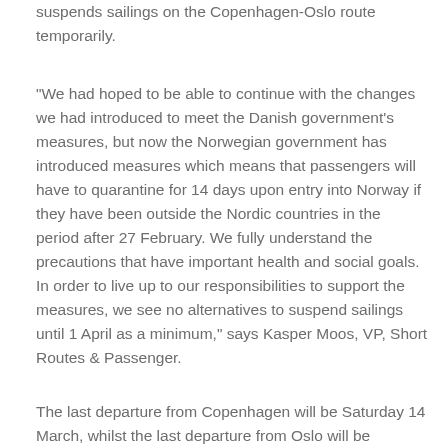suspends sailings on the Copenhagen-Oslo route temporarily.
“We had hoped to be able to continue with the changes we had introduced to meet the Danish government’s measures, but now the Norwegian government has introduced measures which means that passengers will have to quarantine for 14 days upon entry into Norway if they have been outside the Nordic countries in the period after 27 February. We fully understand the precautions that have important health and social goals. In order to live up to our responsibilities to support the measures, we see no alternatives to suspend sailings until 1 April as a minimum,” says Kasper Moos, VP, Short Routes & Passenger.
The last departure from Copenhagen will be Saturday 14 March, whilst the last departure from Oslo will be